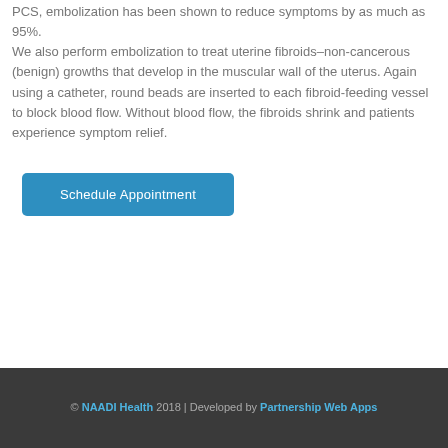PCS, embolization has been shown to reduce symptoms by as much as 95%. We also perform embolization to treat uterine fibroids–non-cancerous (benign) growths that develop in the muscular wall of the uterus. Again using a catheter, round beads are inserted to each fibroid-feeding vessel to block blood flow. Without blood flow, the fibroids shrink and patients experience symptom relief.
Schedule Appointment
© NAADI Health 2018 | Developed by Partnership Web Apps